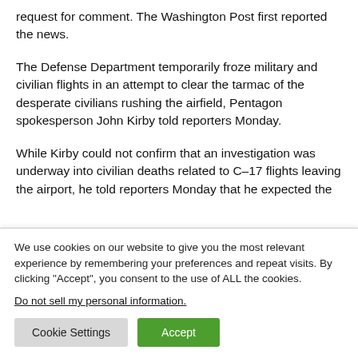request for comment. The Washington Post first reported the news.
The Defense Department temporarily froze military and civilian flights in an attempt to clear the tarmac of the desperate civilians rushing the airfield, Pentagon spokesperson John Kirby told reporters Monday.
While Kirby could not confirm that an investigation was underway into civilian deaths related to C-17 flights leaving the airport, he told reporters Monday that he expected the
We use cookies on our website to give you the most relevant experience by remembering your preferences and repeat visits. By clicking “Accept”, you consent to the use of ALL the cookies.
Do not sell my personal information.